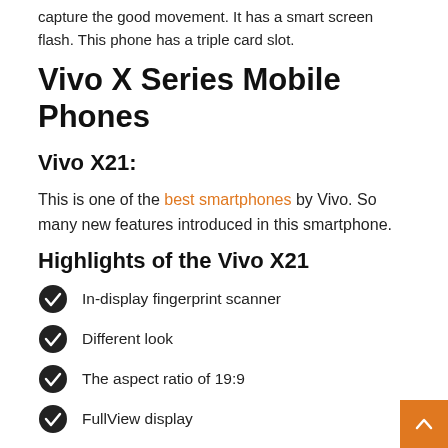capture the good movement. It has a smart screen flash. This phone has a triple card slot.
Vivo X Series Mobile Phones
Vivo X21:
This is one of the best smartphones by Vivo. So many new features introduced in this smartphone.
Highlights of the Vivo X21
In-display fingerprint scanner
Different look
The aspect ratio of 19:9
FullView display